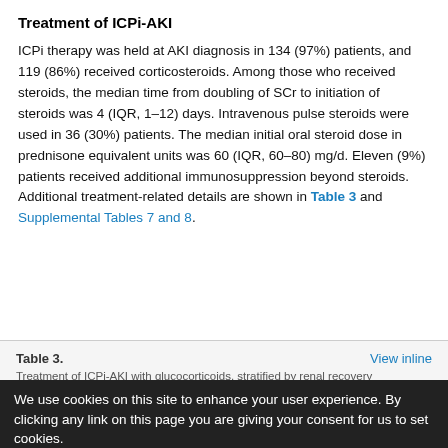Treatment of ICPi-AKI
ICPi therapy was held at AKI diagnosis in 134 (97%) patients, and 119 (86%) received corticosteroids. Among those who received steroids, the median time from doubling of SCr to initiation of steroids was 4 (IQR, 1–12) days. Intravenous pulse steroids were used in 36 (30%) patients. The median initial oral steroid dose in prednisone equivalent units was 60 (IQR, 60–80) mg/d. Eleven (9%) patients received additional immunosuppression beyond steroids. Additional treatment-related details are shown in Table 3 and Supplemental Tables 7 and 8.
Table 3. Treatment of ICPi-AKI with glucocorticoids, stratified by renal recovery
We use cookies on this site to enhance your user experience. By clicking any link on this page you are giving your consent for us to set cookies.
[Figure (infographic): Advertisement banner for Medtronic AV Fistula Creation solution featuring the Ellipsys Vascular Access System with a Learn More button]